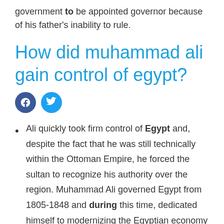government to be appointed governor because of his father's inability to rule.
How did muhammad ali gain control of egypt?
[Figure (other): Facebook and Twitter social sharing icons]
Ali quickly took firm control of Egypt and, despite the fact that he was still technically within the Ottoman Empire, he forced the sultan to recognize his authority over the region. Muhammad Ali governed Egypt from 1805-1848 and during this time, dedicated himself to modernizing the Egyptian economy